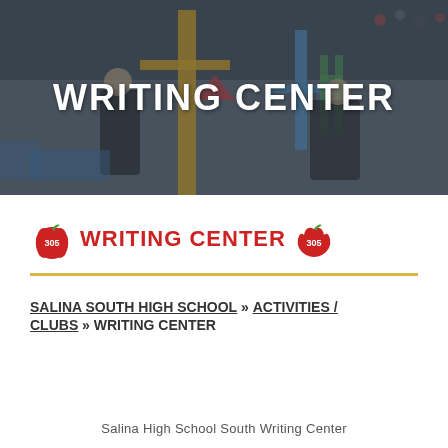[Figure (photo): Students working at a robotics/engineering competition on the floor of an arena, with yellow and blue structures, crowd in background. Darkened overlay.]
WRITING CENTER
[Figure (logo): Two red apple logos with '305' text flanking the words WRITING CENTER in red bold uppercase]
SALINA SOUTH HIGH SCHOOL » ACTIVITIES / CLUBS » WRITING CENTER
Salina High School South Writing Center